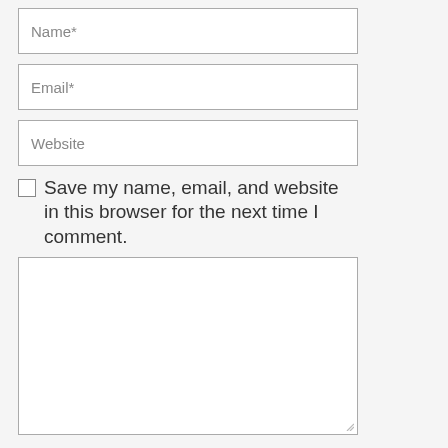Name*
Email*
Website
Save my name, email, and website in this browser for the next time I comment.
[Figure (other): Empty textarea/comment input box]